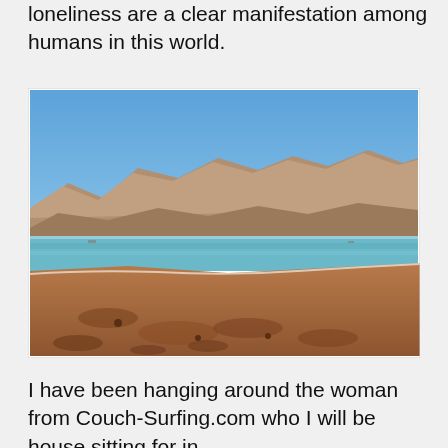loneliness are a clear manifestation among humans in this world.
[Figure (photo): A desert beach shoreline with reddish-brown sandy shore in the foreground, calm turquoise sea water, and arid rocky mountains in the background under a clear blue sky.]
I have been hanging around the woman from Couch-Surfing.com who I will be house sitting for in